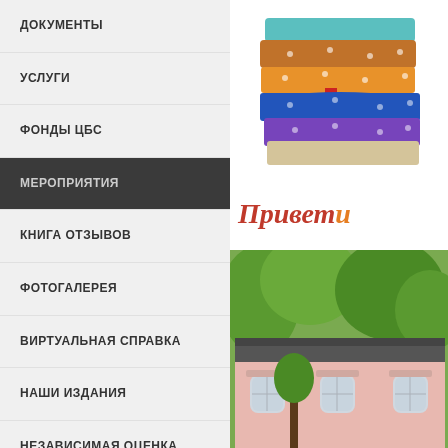ДОКУМЕНТЫ
УСЛУГИ
ФОНДЫ ЦБС
МЕРОПРИЯТИЯ
КНИГА ОТЗЫВОВ
ФОТОГАЛЕРЕЯ
ВИРТУАЛЬНАЯ СПРАВКА
НАШИ ИЗДАНИЯ
НЕЗАВИСИМАЯ ОЦЕНКА КАЧЕСТВА
[Figure (illustration): Stack of colorful books illustration]
Привет
[Figure (photo): Pink historic building exterior with trees]